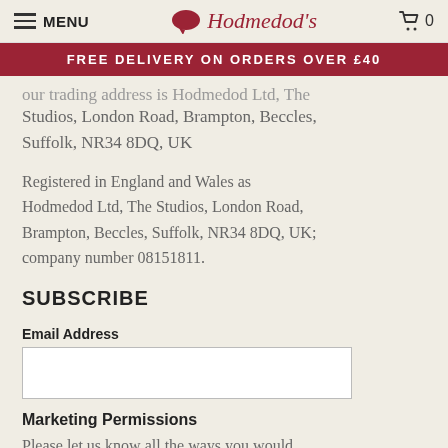MENU | Hodmedod's | 0
FREE DELIVERY ON ORDERS OVER £40
Our trading address is Hodmedod Ltd, The Studios, London Road, Brampton, Beccles, Suffolk, NR34 8DQ, UK
Registered in England and Wales as Hodmedod Ltd, The Studios, London Road, Brampton, Beccles, Suffolk, NR34 8DQ, UK; company number 08151811.
SUBSCRIBE
Email Address
Marketing Permissions
Please let us know all the ways you would like to hear from us: